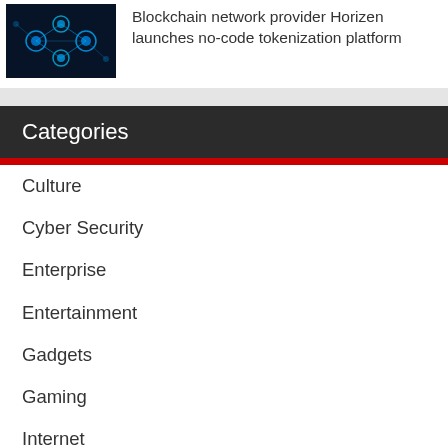[Figure (photo): Blockchain network visualization — glowing blue chain-link nodes on dark background]
Blockchain network provider Horizen launches no-code tokenization platform
Categories
Culture
Cyber Security
Enterprise
Entertainment
Gadgets
Gaming
Internet
Mobile